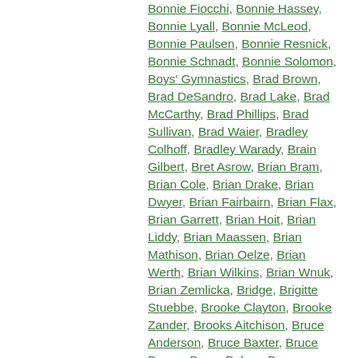Bonnie Fiocchi, Bonnie Hassey, Bonnie Lyall, Bonnie McLeod, Bonnie Paulsen, Bonnie Resnick, Bonnie Schnadt, Bonnie Solomon, Boys' Gymnastics, Brad Brown, Brad DeSandro, Brad Lake, Brad McCarthy, Brad Phillips, Brad Sullivan, Brad Waier, Bradley Colhoff, Bradley Warady, Brain Gilbert, Bret Asrow, Brian Bram, Brian Cole, Brian Drake, Brian Dwyer, Brian Fairbairn, Brian Flax, Brian Garrett, Brian Hoit, Brian Liddy, Brian Maassen, Brian Mathison, Brian Oelze, Brian Werth, Brian Wilkins, Brian Wnuk, Brian Zemlicka, Bridge, Brigitte Stuebbe, Brooke Clayton, Brooke Zander, Brooks Aitchison, Bruce Anderson, Bruce Baxter, Bruce Brown, Bruce Bulger, Bruce Culver, Bruce Edelson, Bruce Fleishman, Bruce Fritzsche, Bruce Garrett, Bruce Homer, Bruce Horwitz, Bruce Johnson, Bruce King, Bruce Larson, Bruce Molloy, Bruce Nusbaum, Bruce Rebechini, Bruce Stupple, Bruce Zimmers, Bryan Saterbo, Bryant Feistel, Burr McCloskey, Buster Brown, Camera, Candi Glicken, Candice Beinlich, Candy Hornkohl, Carey Snyder, Carl Eichstaedt, Carl Evans, Carl Hertel, Carl Petersen, Carl Wolfe, Carmen Merino, Carol Andrea Burkhart, Carol Aronson, Carol Burkhart, Carol Chapman, Carol Clarke, Carol Cober, Carol